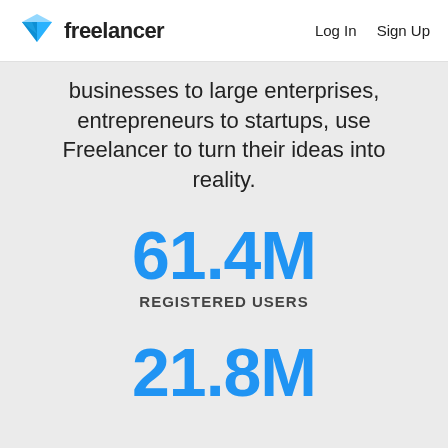freelancer  Log In  Sign Up
businesses to large enterprises, entrepreneurs to startups, use Freelancer to turn their ideas into reality.
61.4M
REGISTERED USERS
21.8M